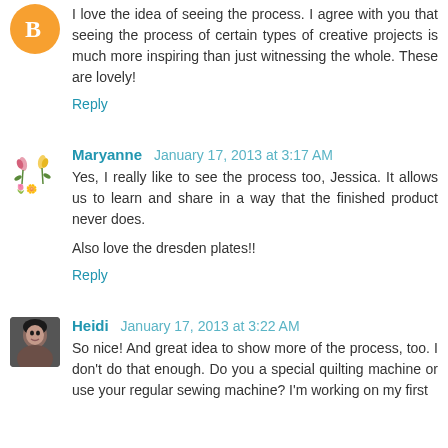I love the idea of seeing the process. I agree with you that seeing the process of certain types of creative projects is much more inspiring than just witnessing the whole. These are lovely!
Reply
Maryanne January 17, 2013 at 3:17 AM
Yes, I really like to see the process too, Jessica. It allows us to learn and share in a way that the finished product never does.

Also love the dresden plates!!
Reply
Heidi January 17, 2013 at 3:22 AM
So nice! And great idea to show more of the process, too. I don't do that enough. Do you a special quilting machine or use your regular sewing machine? I'm working on my first